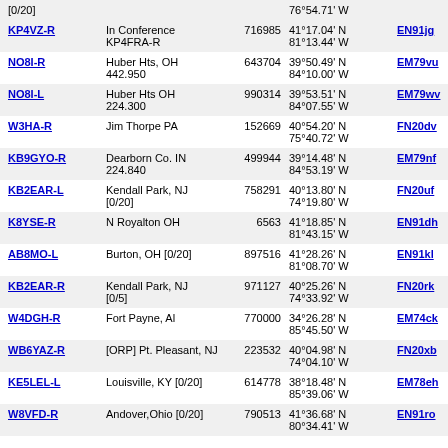| Callsign | Location | Node | Coordinates | Grid | Dist | Freq |
| --- | --- | --- | --- | --- | --- | --- |
| [0/20] |  |  | 76°54.71' W |  |  |  |
| KP4VZ-R | In Conference KP4FRA-R | 716985 | 41°17.04' N 81°13.44' W | EN91jg | 378.5 |  |
| NO8I-R | Huber Hts, OH 442.950 | 643704 | 39°50.49' N 84°10.00' W | EM79vu | 379.3 | 442. |
| NO8I-L | Huber Hts OH 224.300 | 990314 | 39°53.51' N 84°07.55' W | EM79wv | 380.0 | 224. |
| W3HA-R | Jim Thorpe PA | 152669 | 40°54.20' N 75°40.72' W | FN20dv | 383.2 | 147. |
| KB9GYO-R | Dearborn Co. IN 224.840 | 499944 | 39°14.48' N 84°53.19' W | EM79nf | 384.4 | 224. |
| KB2EAR-L | Kendall Park, NJ [0/20] | 758291 | 40°13.80' N 74°19.80' W | FN20uf | 388.6 |  |
| K8YSE-R | N Royalton OH | 6563 | 41°18.85' N 81°43.15' W | EN91dh | 389.3 | 444. |
| AB8MO-L | Burton, OH [0/20] | 897516 | 41°28.26' N 81°08.70' W | EN91kl | 389.6 |  |
| KB2EAR-R | Kendall Park, NJ [0/5] | 971127 | 40°25.26' N 74°33.92' W | FN20rk | 390.1 | 444. |
| W4DGH-R | Fort Payne, Al | 770000 | 34°26.28' N 85°45.50' W | EM74ck | 391.1 | 147. |
| WB6YAZ-R | [ORP] Pt. Pleasant, NJ | 223532 | 40°04.98' N 74°04.10' W | FN20xb | 391.2 | 444. |
| KE5LEL-L | Louisville, KY [0/20] | 614778 | 38°18.48' N 85°39.06' W | EM78eh | 391.6 |  |
| W8VFD-R | Andover,Ohio [0/20] | 790513 | 41°36.68' N 80°34.41' W | EN91ro | 391.6 |  |